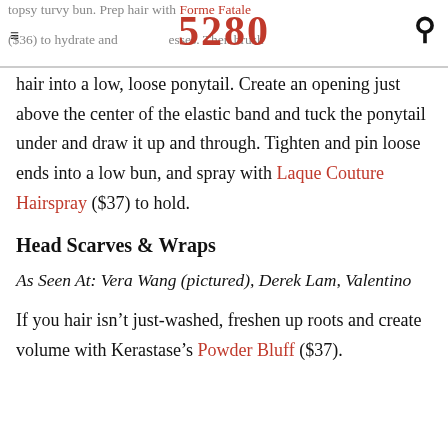topsy turvy bun. Prep hair with Forme Fatale ($36) to hydrate and tresses. Then brush 5280 [logo]
hair into a low, loose ponytail. Create an opening just above the center of the elastic band and tuck the ponytail under and draw it up and through. Tighten and pin loose ends into a low bun, and spray with Laque Couture Hairspray ($37) to hold.
Head Scarves & Wraps
As Seen At: Vera Wang (pictured), Derek Lam, Valentino
If you hair isn’t just-washed, freshen up roots and create volume with Kerastase’s Powder Bluff ($37).